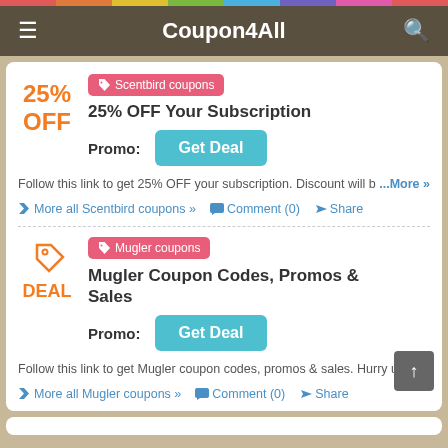Coupon4All
25% OFF
Scentbird coupons
25% OFF Your Subscription
Promo:
Get Deal
Follow this link to get 25% OFF your subscription. Discount will b… ...More »
More all Scentbird coupons »
Comment (0)
Share
DEAL
Mugler coupons
Mugler Coupon Codes, Promos & Sales
Promo:
Get Deal
Follow this link to get Mugler coupon codes, promos & sales. Hurry up!
More all Mugler coupons »
Comment (0)
Share